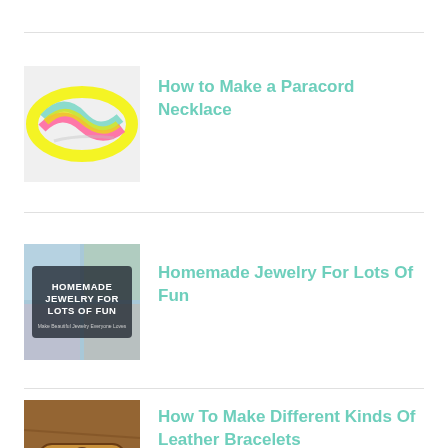[Figure (photo): Colorful braided paracord necklaces/bracelets in neon yellow, pink, and teal colors on a light background]
How to Make a Paracord Necklace
[Figure (photo): Book cover for 'Homemade Jewelry For Lots Of Fun' with colorful artistic background]
Homemade Jewelry For Lots Of Fun
[Figure (photo): Brown leather bracelets with metal button clasp on wooden surface]
How To Make Different Kinds Of Leather Bracelets